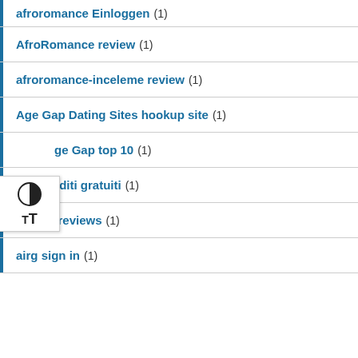afroromance Einloggen (1)
AfroRomance review (1)
afroromance-inceleme review (1)
Age Gap Dating Sites hookup site (1)
Age Gap top 10 (1)
airg crediti gratuiti (1)
airg es reviews (1)
airg sign in (1)